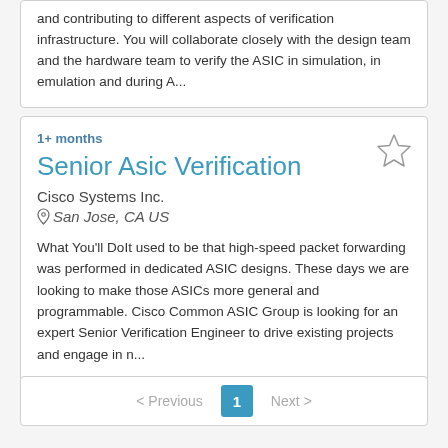and contributing to different aspects of verification infrastructure. You will collaborate closely with the design team and the hardware team to verify the ASIC in simulation, in emulation and during A...
1+ months
Senior Asic Verification
Cisco Systems Inc.
San Jose, CA US
What You'll DoIt used to be that high-speed packet forwarding was performed in dedicated ASIC designs. These days we are looking to make those ASICs more general and programmable. Cisco Common ASIC Group is looking for an expert Senior Verification Engineer to drive existing projects and engage in n...
< Previous  1  Next >